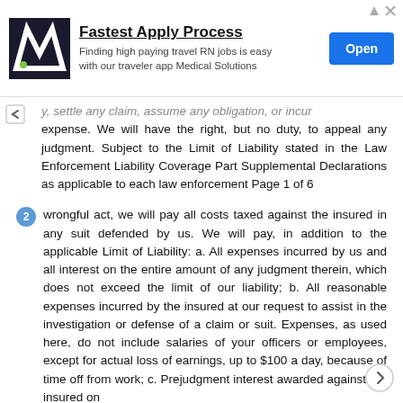[Figure (other): Advertisement banner for Medical Solutions: 'Fastest Apply Process - Finding high paying travel RN jobs is easy with our traveler app Medical Solutions' with an Open button]
y, settle any claim, assume any obligation, or incur expense. We will have the right, but no duty, to appeal any judgment. Subject to the Limit of Liability stated in the Law Enforcement Liability Coverage Part Supplemental Declarations as applicable to each law enforcement Page 1 of 6
2 wrongful act, we will pay all costs taxed against the insured in any suit defended by us. We will pay, in addition to the applicable Limit of Liability: a. All expenses incurred by us and all interest on the entire amount of any judgment therein, which does not exceed the limit of our liability; b. All reasonable expenses incurred by the insured at our request to assist in the investigation or defense of a claim or suit. Expenses, as used here, do not include salaries of your officers or employees, except for actual loss of earnings, up to $100 a day, because of time off from work; c. Prejudgment interest awarded against the insured on